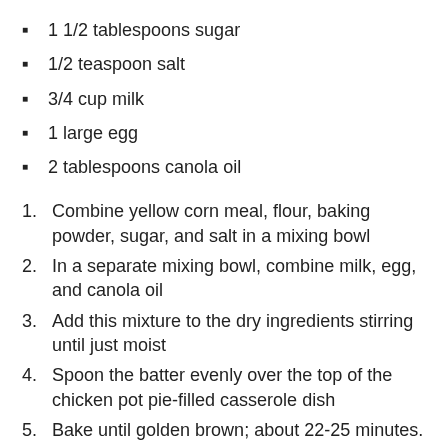1 1/2 tablespoons sugar
1/2 teaspoon salt
3/4 cup milk
1 large egg
2 tablespoons canola oil
1. Combine yellow corn meal, flour, baking powder, sugar, and salt in a mixing bowl
2. In a separate mixing bowl, combine milk, egg, and canola oil
3. Add this mixture to the dry ingredients stirring until just moist
4. Spoon the batter evenly over the top of the chicken pot pie-filled casserole dish
5. Bake until golden brown; about 22-25 minutes.
Serve with warm rolls and enjoy!